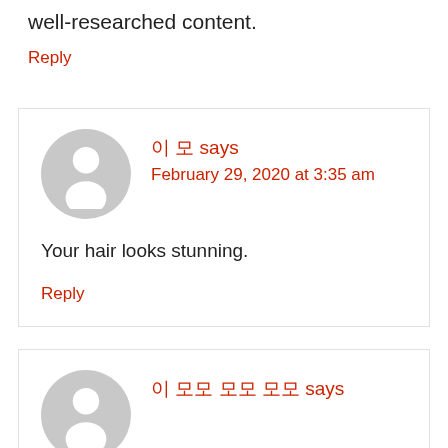well-researched content.
Reply
이 모 says
February 29, 2020 at 3:35 am
Your hair looks stunning.
Reply
이 모모 모모 모모 says